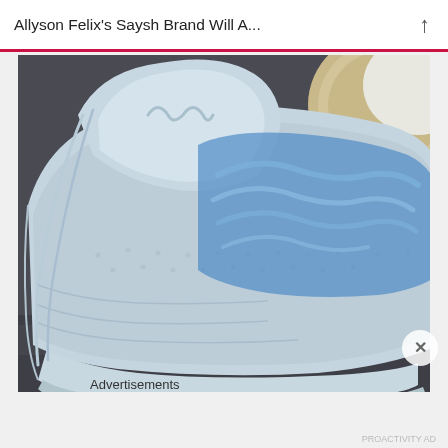Allyson Felix's Saysh Brand Will A...
[Figure (photo): Close-up photo of a light blue athletic sneaker (Saysh brand) with blue transparent lace cover overlay, on a grey textured surface, with a rounded beige/cork object in the background]
Advertisements